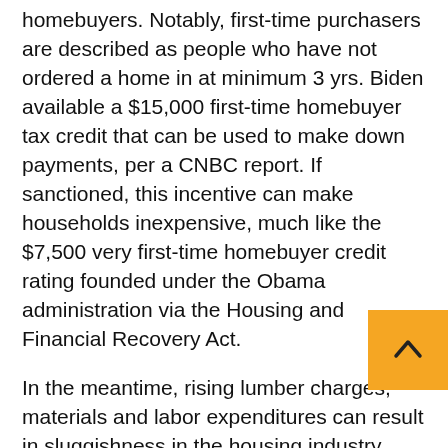homebuyers. Notably, first-time purchasers are described as people who have not ordered a home in at minimum 3 yrs. Biden available a $15,000 first-time homebuyer tax credit that can be used to make down payments, per a CNBC report. If sanctioned, this incentive can make households inexpensive, much like the $7,500 very first-time homebuyer credit rating founded under the Obama administration via the Housing and Financial Recovery Act.
In the meantime, rising lumber charges, materials and labor expenditures can result in sluggishness in the housing industry despite lower interest prices. Heading by the Labor Section data, softwood lumber charges rose 52.2% on a yr-over-year basis in December, as mentioned in a Reuters write-up. In actuality, going by NAR's press release, the full housing inventory declined 16.4% month around thirty day period in December and came in at million models. It also reduced 23% on a 12 months-above-calendar year basis. Also, lower employment levels and aggravating coronavirus outbreak might impede